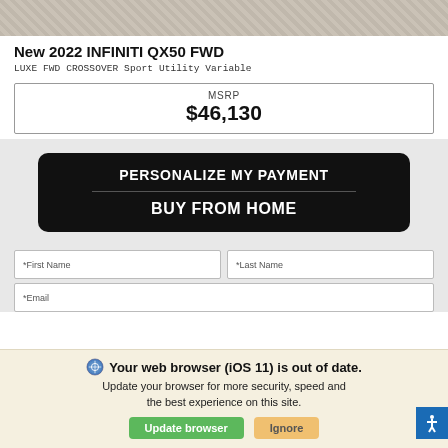[Figure (photo): Stone pavement / cobblestone texture image at the top of the page]
New 2022 INFINITI QX50 FWD
LUXE FWD CROSSOVER Sport Utility Variable
| MSRP |
| --- |
| $46,130 |
[Figure (screenshot): Black rounded rectangle button with text: PERSONALIZE MY PAYMENT / BUY FROM HOME]
*First Name
*Last Name
*Email
Your web browser (iOS 11) is out of date. Update your browser for more security, speed and the best experience on this site.
Update browser
Ignore